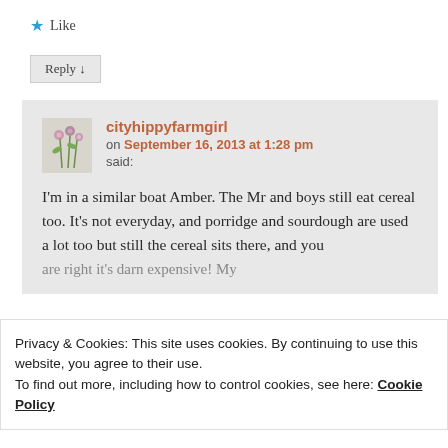Like
Reply ↓
cityhippyfarmgirl on September 16, 2013 at 1:28 pm said:
I'm in a similar boat Amber. The Mr and boys still eat cereal too. It's not everyday, and porridge and sourdough are used a lot too but still the cereal sits there, and you are right it's darn expensive! My
Privacy & Cookies: This site uses cookies. By continuing to use this website, you agree to their use.
To find out more, including how to control cookies, see here: Cookie Policy
Close and accept